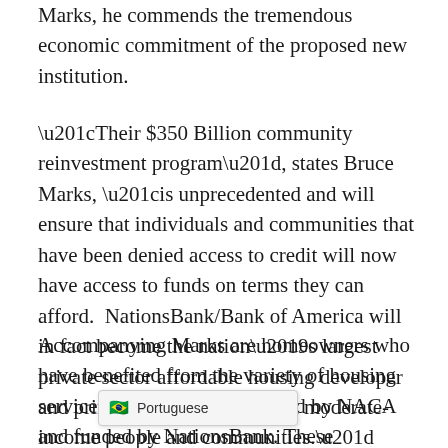Marks, he commends the tremendous economic commitment of the proposed new institution.
“Their $350 Billion community reinvestment program”, states Bruce Marks, “is unprecedented and will ensure that individuals and communities that have been denied access to credit will now have access to funds on terms they can afford.  NationsBank/Bank of America will in fact become the nation’s largest private sector affordable housing developer and primary lender to low- and moderate-income people and communities.”
Accompanying Marks are homeowners who have benefited from the variety of housing services and programs provided by NACA and funded by NationsBank. These homeowners are traveling to San Francisco to show the [Portuguese] ct of NationsBank’s community